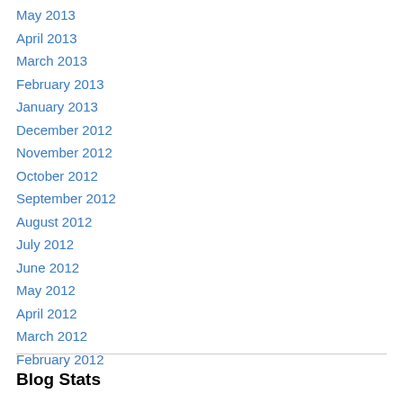May 2013
April 2013
March 2013
February 2013
January 2013
December 2012
November 2012
October 2012
September 2012
August 2012
July 2012
June 2012
May 2012
April 2012
March 2012
February 2012
Blog Stats